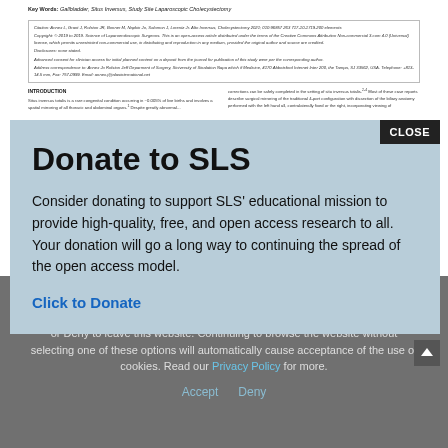Key Words: Gallbladder, Situs inversus, Study Site Laparoscopic Cholecystectomy
Citation: [author names and citation details - partially visible]
Copyright: [copyright notice text - partially visible]
INTRODUCTION
Situs inversus totalis is a rare congenital condition occurring in ~0.005% of live births and involves a spatial mirroring of all thoracic and abdominal organs. Despite greatly abnormal... [continues]
[right column continues] ...correction can be safely completed in the setting of situs inversus totalis...
Donate to SLS
Consider donating to support SLS' educational mission to provide high-quality, free, and open access research to all. Your donation will go a long way to continuing the spread of the open access model.
Click to Donate
or Deny to leave this website. Continuing to browse the website without selecting one of these options will automatically cause acceptance of the use of cookies. Read our Privacy Policy for more.
Accept   Deny